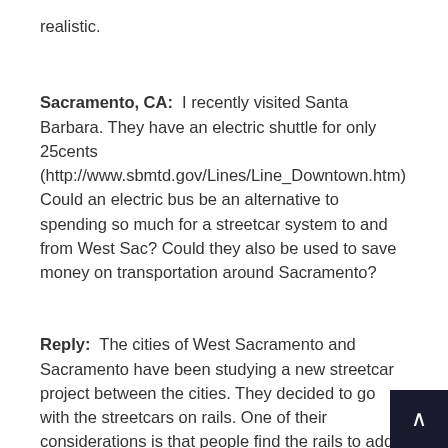realistic.
Sacramento, CA:  I recently visited Santa Barbara. They have an electric shuttle for only 25cents (http://www.sbmtd.gov/Lines/Line_Downtown.htm) Could an electric bus be an alternative to spending so much for a streetcar system to and from West Sac? Could they also be used to save money on transportation around Sacramento?
Reply:  The cities of West Sacramento and Sacramento have been studying a new streetcar project between the cities. They decided to go with the streetcars on rails. One of their considerations is that people find the rails to add a bit of security to their travels. The rails give a visual confirmation about where the route runs. More importantly, businesses that located near, or adjacent to a streetcar line see the rails as security for their investments in the neighborhood. The rails assure them that the line is going to be there for a long time.